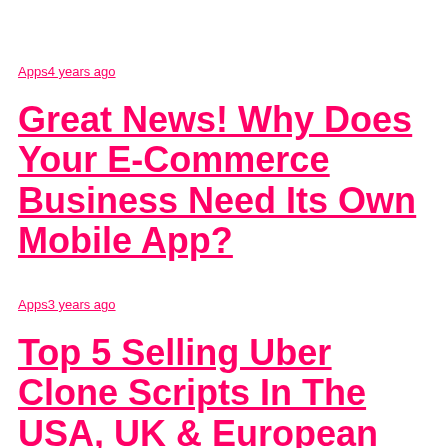Apps4 years ago
Great News! Why Does Your E-Commerce Business Need Its Own Mobile App?
Apps3 years ago
Top 5 Selling Uber Clone Scripts In The USA, UK & European Market